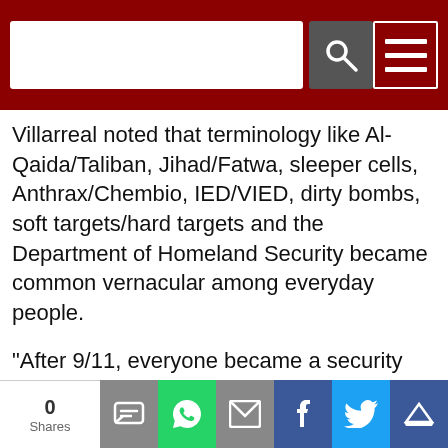Navigation bar with search and menu
Villarreal noted that terminology like Al-Qaida/Taliban, Jihad/Fatwa, sleeper cells, Anthrax/Chembio, IED/VIED, dirty bombs, soft targets/hard targets and the Department of Homeland Security became common vernacular among everyday people.
“After 9/11, everyone became a security expert,” he said.
The biggest change after 9/11, according to Villarreal, was the creation of the Department of Homeland Security. Prior to its creation, there were 32 or 33 agencies doing their own thing, he said.
“The DHS created national threat levels for the public
0 Shares | SMS | WhatsApp | Email | Facebook | Twitter | Other